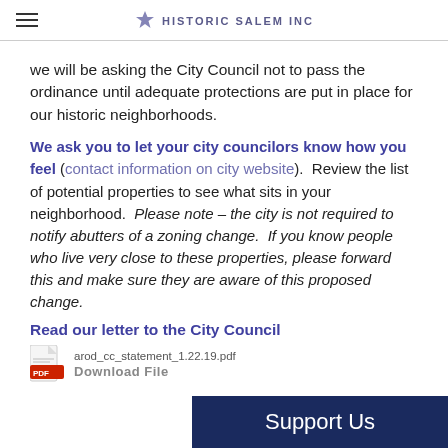HISTORIC SALEM INC
we will be asking the City Council not to pass the ordinance until adequate protections are put in place for our historic neighborhoods.
We ask you to let your city councilors know how you feel (contact information on city website). Review the list of potential properties to see what sits in your neighborhood. Please note – the city is not required to notify abutters of a zoning change. If you know people who live very close to these properties, please forward this and make sure they are aware of this proposed change.
Read our letter to the City Council
arod_cc_statement_1.22.19.pdf
Download File
Support Us